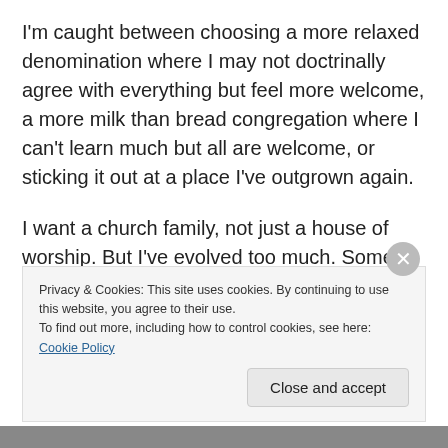I'm caught between choosing a more relaxed denomination where I may not doctrinally agree with everything but feel more welcome, a more milk than bread congregation where I can't learn much but all are welcome, or sticking it out at a place I've outgrown again.
I want a church family, not just a house of worship. But I've evolved too much. Some may think I'm a fake or falling for the world's progressive antics and straying. I'm here to yell into this little void that I am working so hard to hold on to
Privacy & Cookies: This site uses cookies. By continuing to use this website, you agree to their use.
To find out more, including how to control cookies, see here: Cookie Policy